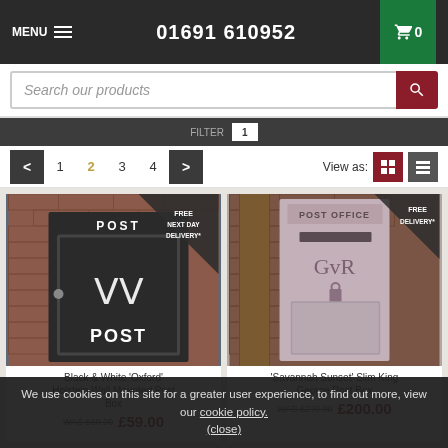MENU  01691 610952  Cart 0
Search our products
Filter / Page controls
< 1 2 3 4 >  View as:
[Figure (photo): Black wall-mounted post box with 'POST' text on a brick wall background, with 'FREE NEXT DAY DELIVERY*' badge in corner]
[Figure (photo): Pink/beige slim King George post box mounted on a wooden post against brick wall, with 'FREE DELIVERY*' badge in corner]
Black & White 'Oxford' Holstein Wall Mounted Post Box
WAS £80.00  £59.00
'Savannah Sunset' Slim King George Post Box
WAS £270.00  £200.00
We use cookies on this site for a greater user experience, to find out more, view our cookie policy.
(close)